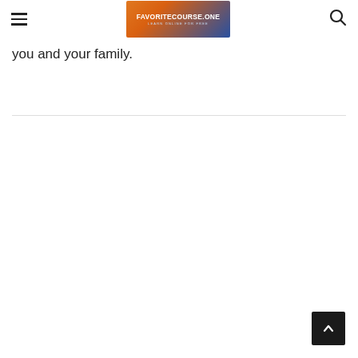Navigation bar with hamburger menu, FAVORITECOURSE.ONE logo, and search icon
you and your family.
[Figure (other): Horizontal divider line]
[Figure (other): Back-to-top button with upward chevron arrow, dark background]